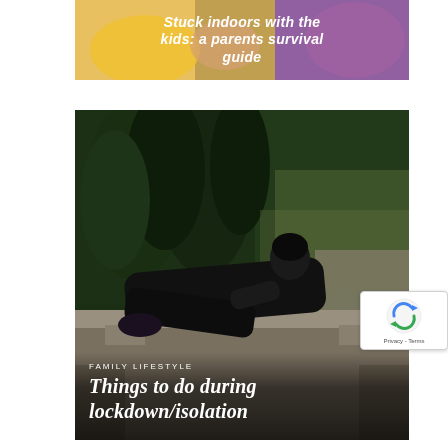[Figure (photo): Top article card image with text overlay: 'Stuck indoors with the kids: a parents survival guide' in white bold italic text over a colorful background showing children's craft activity]
[Figure (photo): Article card image showing a person in black clothes lying on a stone bench in a garden with green hedges/trees in background. Overlay text reads 'FAMILY LIFESTYLE' and 'Things to do during lockdown/isolation' in white italic text]
[Figure (other): reCAPTCHA badge showing spinning arrows logo and 'Privacy - Terms' text]